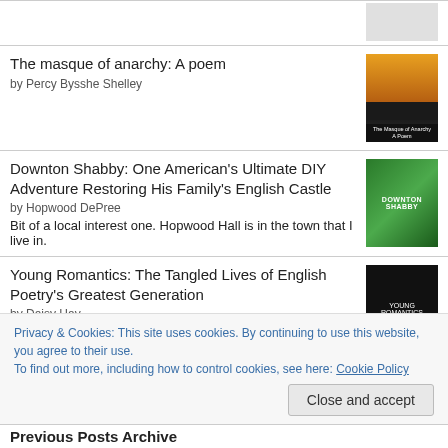The masque of anarchy: A poem
by Percy Bysshe Shelley
[Figure (photo): Book cover for The masque of anarchy: A poem]
Downton Shabby: One American's Ultimate DIY Adventure Restoring His Family's English Castle
by Hopwood DePree
Bit of a local interest one. Hopwood Hall is in the town that I live in.
[Figure (photo): Book cover for Downton Shabby]
Young Romantics: The Tangled Lives of English Poetry's Greatest Generation
by Daisy Hay
[Figure (photo): Book cover for Young Romantics]
Privacy & Cookies: This site uses cookies. By continuing to use this website, you agree to their use.
To find out more, including how to control cookies, see here: Cookie Policy
Previous Posts Archive